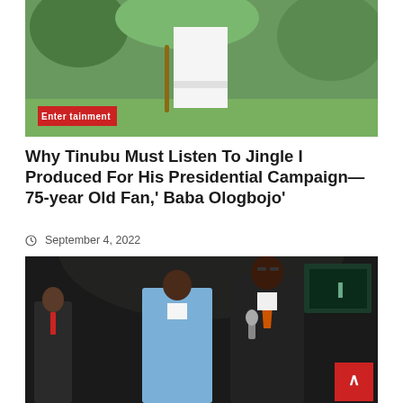[Figure (photo): Person in white clothing holding a walking stick, standing on green grass with tropical plants in background. Red 'Entertainment' badge overlaid at bottom left.]
Why Tinubu Must Listen To Jingle I Produced For His Presidential Campaign—75-year Old Fan,' Baba Ologbojo'
September 4, 2022
[Figure (photo): Two men on a dark stage — one in a light blue suit, the other in a dark suit with orange tie holding a microphone. A third figure partially visible on left. A back-to-top arrow button appears at bottom right corner.]